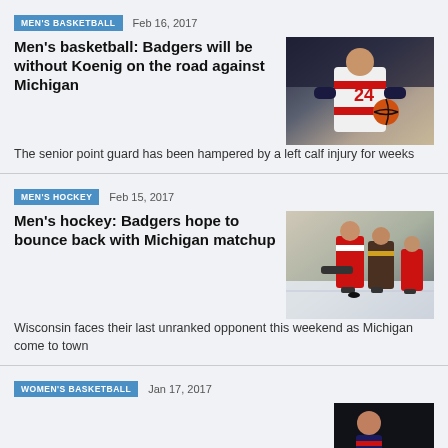MEN'S BASKETBALL  Feb 16, 2017
Men's basketball: Badgers will be without Koenig on the road against Michigan
[Figure (photo): Basketball player in Wisconsin #24 jersey holding a basketball]
The senior point guard has been hampered by a left calf injury for weeks
MEN'S HOCKEY  Feb 15, 2017
Men's hockey: Badgers hope to bounce back with Michigan matchup
[Figure (photo): Hockey players on ice in action during a game]
Wisconsin faces their last unranked opponent this weekend as Michigan come to town
WOMEN'S BASKETBALL  Jan 17, 2017
[Figure (photo): Partial view of a basketball game, dark background]